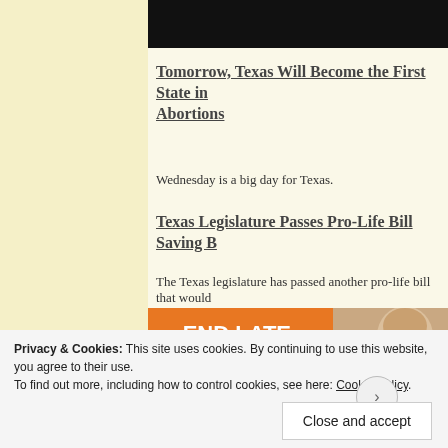[Figure (screenshot): Black video thumbnail bar at top of main content area]
Tomorrow, Texas Will Become the First State in Abortions
Wednesday is a big day for Texas.
Texas Legislature Passes Pro-Life Bill Saving B
The Texas legislature has passed another pro-life bill that would
[Figure (infographic): Orange banner with text END LATE-TERM and a photo of a baby's face]
Privacy & Cookies: This site uses cookies. By continuing to use this website, you agree to their use.
To find out more, including how to control cookies, see here: Cookie Policy
Close and accept